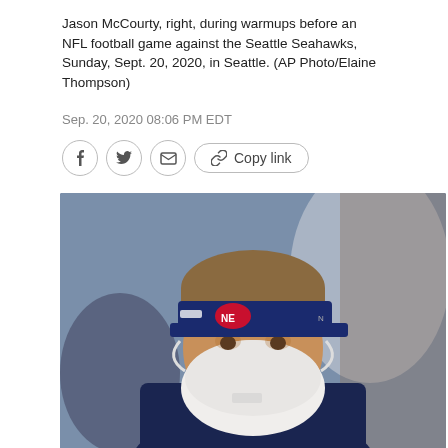Jason McCourty, right, during warmups before an NFL football game against the Seattle Seahawks, Sunday, Sept. 20, 2020, in Seattle. (AP Photo/Elaine Thompson)
Sep. 20, 2020 08:06 PM EDT
[Figure (other): Social media sharing buttons: Facebook, Twitter, Email, and Copy link]
[Figure (photo): A person wearing a New England Patriots visor and a white N95 face mask, dressed in a navy blue jacket, photographed outdoors at an NFL football game.]